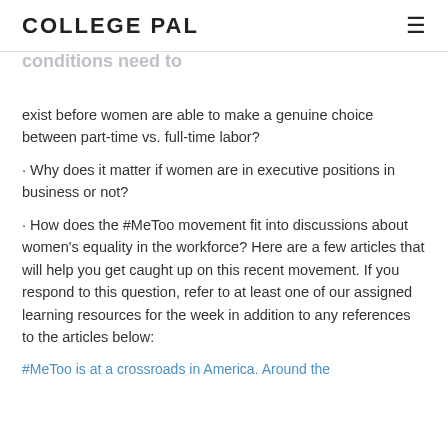COLLEGE PAL
How could part-time or home-based work be made more equitable for women? What conditions need to exist before women are able to make a genuine choice between part-time vs. full-time labor?
· Why does it matter if women are in executive positions in business or not?
· How does the #MeToo movement fit into discussions about women's equality in the workforce? Here are a few articles that will help you get caught up on this recent movement. If you respond to this question, refer to at least one of our assigned learning resources for the week in addition to any references to the articles below:
#MeToo is at a crossroads in America. Around the